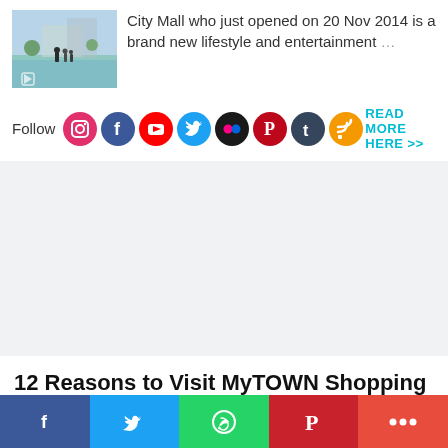[Figure (photo): Small thumbnail image of people near a pool/water feature at a mall outdoors area]
City Mall who just opened on 20 Nov 2014 is a brand new lifestyle and entertainment …
Follow
[Figure (infographic): Social media follow icons: Instagram, Facebook, YouTube, Twitter, Flickr, Pinterest, Tumblr, RSS feed]
READ MORE HERE >>
12 Reasons to Visit MyTOWN Shopping
[Figure (infographic): Bottom social share bar with Facebook, Twitter, WhatsApp, Pinterest, and More buttons]